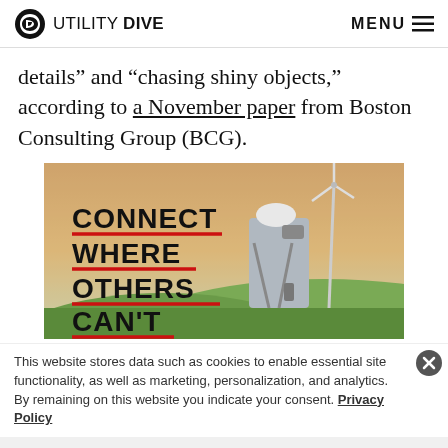UTILITY DIVE  MENU
details” and “chasing shiny objects,” according to a November paper from Boston Consulting Group (BCG).
[Figure (photo): Advertisement image showing a utility worker in a hard hat looking through binoculars with wind turbines in background. Text overlay reads: CONNECT WHERE OTHERS CAN'T]
This website stores data such as cookies to enable essential site functionality, as well as marketing, personalization, and analytics. By remaining on this website you indicate your consent. Privacy Policy